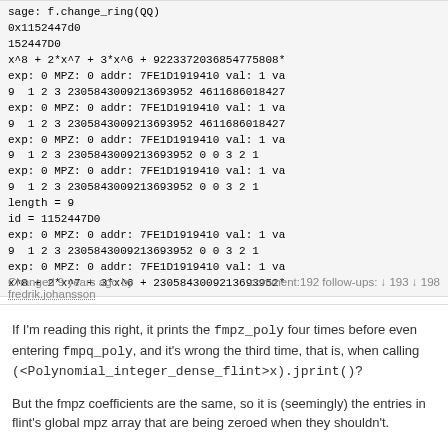sage: f.change_ring(QQ)
0x1152447d0
152447D0
x^8 + 2*x^7 + 3*x^6 + 9223372036854775808*
exp: 0 MPZ: 0 addr: 7FE1D1919410 val: 1 va
9  1 2 3 2305843009213693952 4611686018427
exp: 0 MPZ: 0 addr: 7FE1D1919410 val: 1 va
9  1 2 3 2305843009213693952 4611686018427
exp: 0 MPZ: 0 addr: 7FE1D1919410 val: 1 va
9  1 2 3 2305843009213693952 0 0 3 2 1
exp: 0 MPZ: 0 addr: 7FE1D1919410 val: 1 va
9  1 2 3 2305843009213693952 0 0 3 2 1
length = 9
id = 1152447D0
exp: 0 MPZ: 0 addr: 7FE1D1919410 val: 1 va
9  1 2 3 2305843009213693952 0 0 3 2 1
exp: 0 MPZ: 0 addr: 7FE1D1919410 val: 1 va
x^8 + 2*x^7 + 3*x^6 + 2305843009213693952*
Changed 9 years ago by fredrik.johansson
comment:192 follow-ups: ↓ 193 ↓ 198
If I'm reading this right, it prints the fmpz_poly four times before even entering fmpq_poly, and it's wrong the third time, that is, when calling (<Polynomial_integer_dense_flint>x).jprint()?
But the fmpz coefficients are the same, so it is (seemingly) the entries in flint's global mpz array that are being zeroed when they shouldn't.